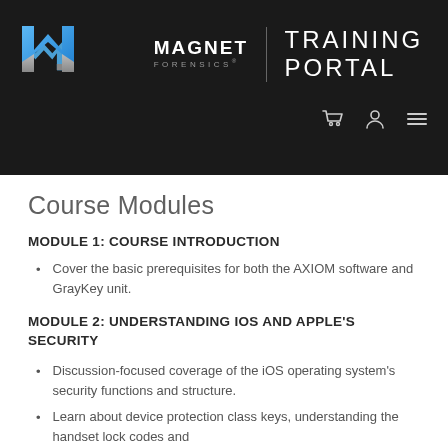MAGNET FORENSICS | TRAINING PORTAL
Course Modules
MODULE 1: COURSE INTRODUCTION
Cover the basic prerequisites for both the AXIOM software and GrayKey unit.
MODULE 2: UNDERSTANDING IOS AND APPLE'S SECURITY
Discussion-focused coverage of the iOS operating system's security functions and structure.
Learn about device protection class keys, understanding the handset lock codes and